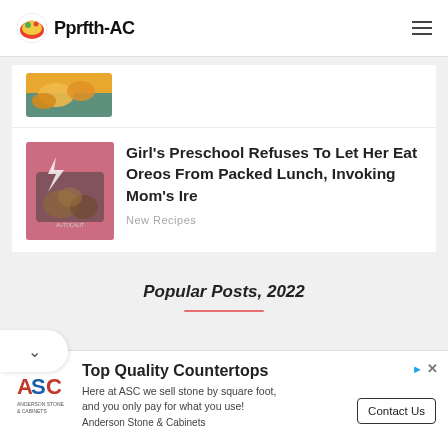Pprfth-AC
[Figure (photo): Partial thumbnail of food image showing golden-brown fried items in a container]
[Figure (photo): Thumbnail image for article about preschool lunch - pink background with food items overlay]
Girl's Preschool Refuses To Let Her Eat Oreos From Packed Lunch, Invoking Mom's Ire
New Recipes
Popular Posts, 2022
[Figure (other): Advertisement: Top Quality Countertops - ASC Anderson Stone & Cabinets. Here at ASC we sell stone by square foot, and you only pay for what you use! Contact Us button.]